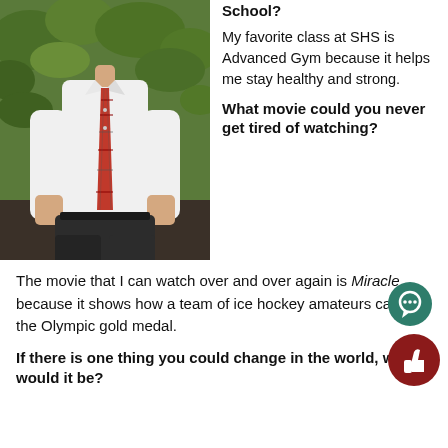[Figure (photo): Young man in white dress shirt and plaid tie standing outdoors with greenery in background, hands in pockets.]
School?
My favorite class at SHS is Advanced Gym because it helps me stay healthy and strong.
What movie could you never get tired of watching?
The movie that I can watch over and over again is Miracle because it shows how a team of ice hockey amateurs can win the Olympic gold medal.
If there is one thing you could change in the world, what would it be?